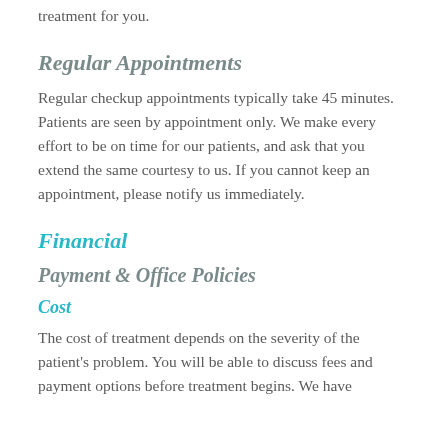treatment for you.
Regular Appointments
Regular checkup appointments typically take 45 minutes. Patients are seen by appointment only. We make every effort to be on time for our patients, and ask that you extend the same courtesy to us. If you cannot keep an appointment, please notify us immediately.
Financial
Payment & Office Policies
Cost
The cost of treatment depends on the severity of the patient's problem. You will be able to discuss fees and payment options before treatment begins. We have